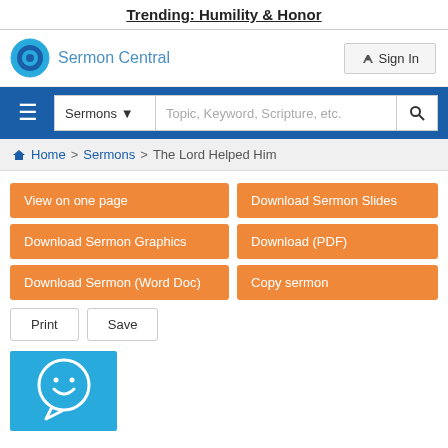Trending: Humility & Honor
[Figure (logo): Sermon Central logo with blue circular icon and text 'Sermon Central']
Sign In
Sermons | Topic, Keyword, Scripture, etc.
Home > Sermons > The Lord Helped Him
View on one page
Download Sermon Slides
Download Sermon Graphics
Download (PDF)
Download Sermon (Word Doc)
Copy sermon
Print
Save
[Figure (illustration): Blue square with white smiley face speech bubble icon]